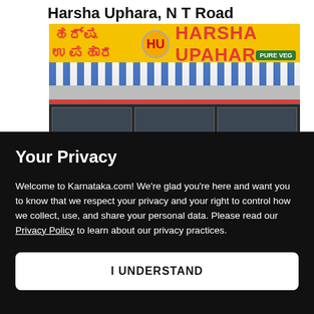Harsha Uphara, N T Road
[Figure (photo): Storefront of Harsha Upahar restaurant showing a yellow signboard with Kannada script and 'HARSHA UPAHAR' in red English letters, a blue-and-white striped awning, and a glass-fronted entrance. A green 'PURE VEG' badge is visible on the sign.]
Your Privacy
Welcome to Karnataka.com! We're glad you're here and want you to know that we respect your privacy and your right to control how we collect, use, and share your personal data. Please read our Privacy Policy to learn about our privacy practices.
I UNDERSTAND